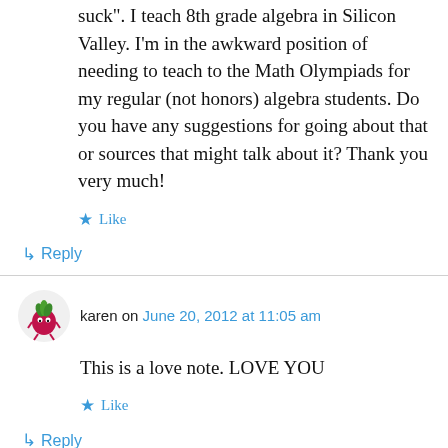suck". I teach 8th grade algebra in Silicon Valley. I'm in the awkward position of needing to teach to the Math Olympiads for my regular (not honors) algebra students. Do you have any suggestions for going about that or sources that might talk about it? Thank you very much!
★ Like
↳ Reply
karen on June 20, 2012 at 11:05 am
This is a love note. LOVE YOU
★ Like
↳ Reply